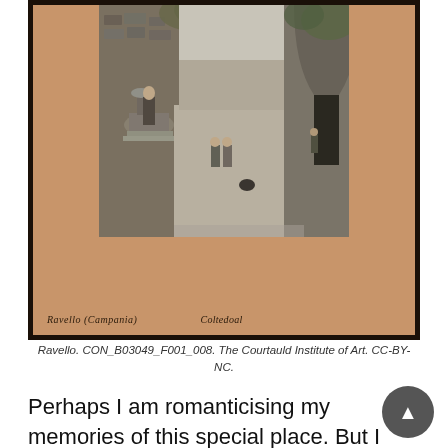[Figure (photo): Antique black-and-white photograph mounted on a tan/amber mat board with a dark frame. The photograph shows a courtyard or plaza scene in Ravello, Campania, Italy. Several figures are visible in the scene — a woman at a stone fountain/well on the left, and two children standing in the open plaza area. Stone walls, archways with ivy/vegetation, and what appears to be a gate or entrance on the right side of the image are visible. The mat has handwritten text at the bottom reading 'Ravello (Campania)' on the left and 'Coltedoal' on the right.]
Ravello. CON_B03049_F001_008. The Courtauld Institute of Art. CC-BY-NC.
Perhaps I am romanticising my memories of this special place. But I can vividly recall the quiet glamour of the Villa Cimbrone